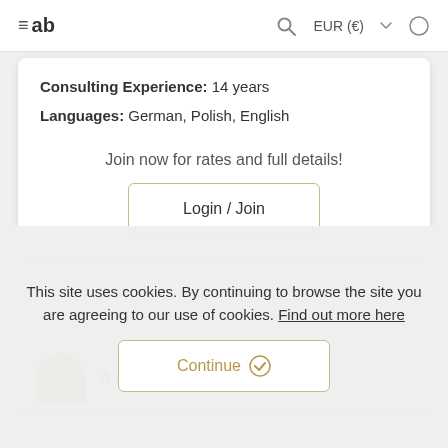≡ ab  [search icon]  EUR (€) ▾  [contrast icon]
Consulting Experience: 14 years
Languages: German, Polish, English
Join now for rates and full details!
Login / Join
A D
This site uses cookies. By continuing to browse the site you are agreeing to our use of cookies. Find out more here
Continue